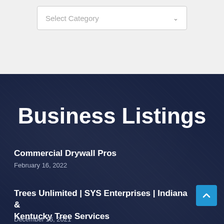[Figure (screenshot): Dropdown select box with 'Select Category' placeholder text and down arrow, on a light gray background]
Business Listings
Commercial Drywall Pros
February 16, 2022
Trees Unlimited | SYS Enterprises | Indiana & Kentucky Tree Services
December 16, 2021